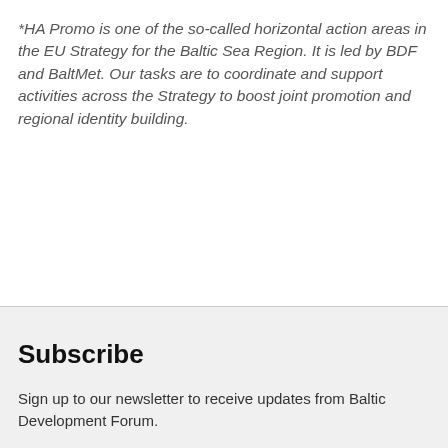*HA Promo is one of the so-called horizontal action areas in the EU Strategy for the Baltic Sea Region. It is led by BDF and BaltMet. Our tasks are to coordinate and support activities across the Strategy to boost joint promotion and regional identity building.
Subscribe
Sign up to our newsletter to receive updates from Baltic Development Forum.
SUBSCRIBE